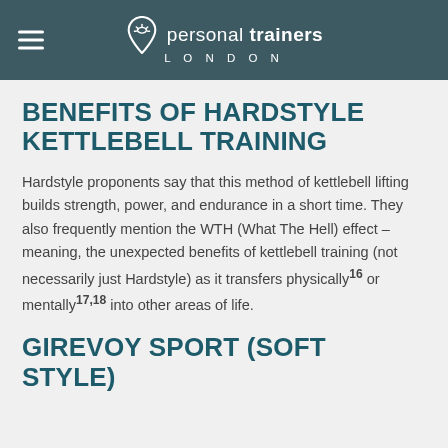personal trainers LONDON
BENEFITS OF HARDSTYLE KETTLEBELL TRAINING
Hardstyle proponents say that this method of kettlebell lifting builds strength, power, and endurance in a short time. They also frequently mention the WTH (What The Hell) effect – meaning, the unexpected benefits of kettlebell training (not necessarily just Hardstyle) as it transfers physically¹⁶ or mentally¹⁷,¹⁸ into other areas of life.
GIREVOY SPORT (SOFT STYLE)